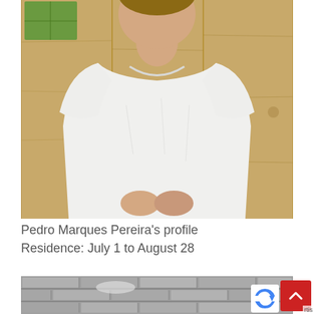[Figure (photo): A young person wearing a white t-shirt standing against a wooden wall background]
Pedro Marques Pereira's profile
Residence: July 1 to August 28
[Figure (photo): Black and white photo of a brick wall, partially visible at the bottom of the page]